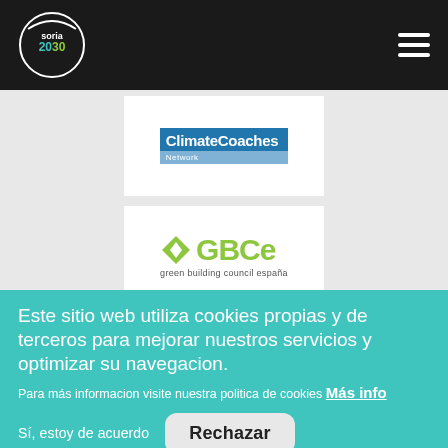soria2030 - navigation header
[Figure (logo): ClimateCoaches Network logo - blue banner with white text]
[Figure (logo): GBCe (Green Building Council España) logo with green diamond icon and text]
Este sitio web utiliza cookies propias y de terceros para mejorar nuestros servicios y optimizar su navegacion.
Para más informacion visite nuestra politica de cookies Más info
Sí, estoy de acuerdo
Rechazar